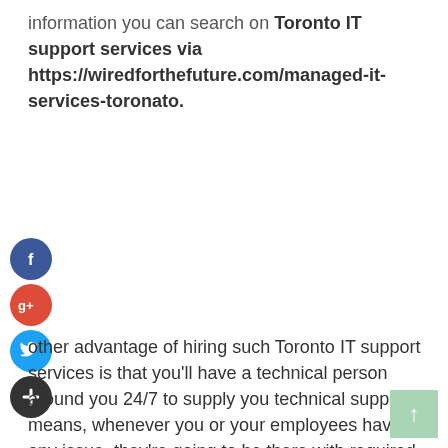information you can search on Toronto IT support services via https://wiredforthefuture.com/managed-it-services-toronato.
[Figure (illustration): Social media share icons: Facebook (blue circle with f), Google+ (red circle with g+), Twitter (blue circle with bird), and a dark plus circle, stacked vertically on the left side of the page.]
other advantage of hiring such Toronto IT support services is that you'll have a technical person around you 24/7 to supply you technical support. It means, whenever you or your employees have any issue, they're going to be there with required solutions. They mapped out most sorts of problems whether the systems are trapped by any virus or not functioning